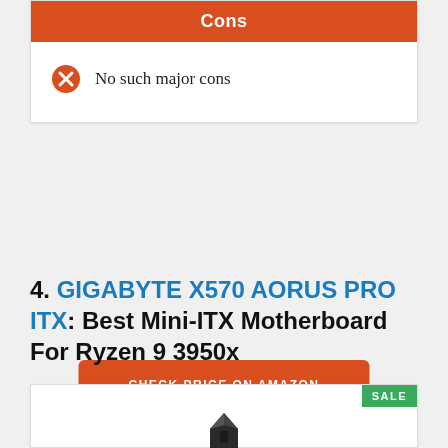Cons
No such major cons
CHECK PRICE ON AMAZON
4. GIGABYTE X570 AORUS PRO ITX: Best Mini-ITX Motherboard For Ryzen 9 3950x
[Figure (photo): Product image of GIGABYTE X570 AORUS PRO ITX motherboard with SALE badge]